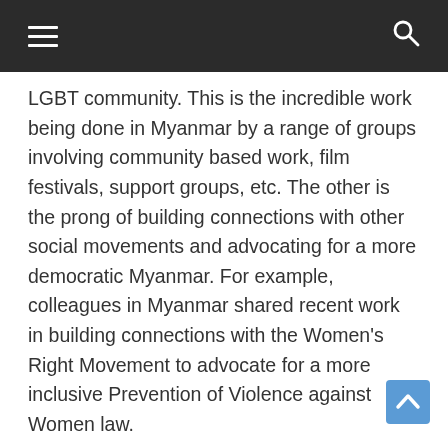☰  🔍
LGBT community. This is the incredible work being done in Myanmar by a range of groups involving community based work, film festivals, support groups, etc. The other is the prong of building connections with other social movements and advocating for a more democratic Myanmar. For example, colleagues in Myanmar shared recent work in building connections with the Women's Right Movement to advocate for a more inclusive Prevention of Violence against Women law.
Both strands of work are underway in Myanmar. If there is one thing one learns from the seventeen year old Indian legal battle to decriminalise LGBT lives, it is that that the battle could be long and